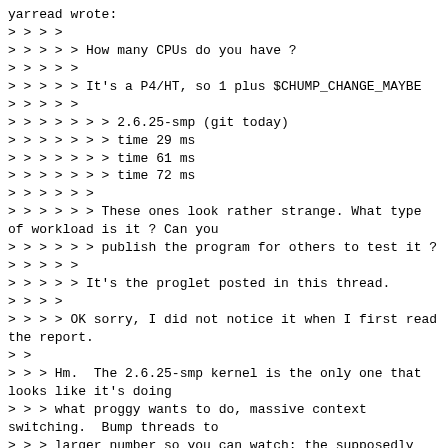yarread wrote:
> > > >
> > > > > How many CPUs do you have ?
> > > > >
> > > > > It's a P4/HT, so 1 plus $CHUMP_CHANGE_MAYBE
> > > > >
> > > > > > > 2.6.25-smp (git today)
> > > > > > > time 29 ms
> > > > > > > time 61 ms
> > > > > > > time 72 ms
> > > > > >
> > > > > > These ones look rather strange. What type of workload is it ? Can you
> > > > > > publish the program for others to test it ?
> > > > >
> > > > > It's the proglet posted in this thread.
> > > >
> > > > OK sorry, I did not notice it when I first read the report.
> >
> > > Hm.  The 2.6.25-smp kernel is the only one that looks like it's doing
> > > what proggy wants to do, massive context switching.  Bump threads to
> > > larger number so you can watch: the supposedly good kernel (22) is doing
> > > everything on one CPU.  Everybody else sucks differently (idleness), and
> > > the clear throughput winner, via mad over-schedule (!?!), is git today.